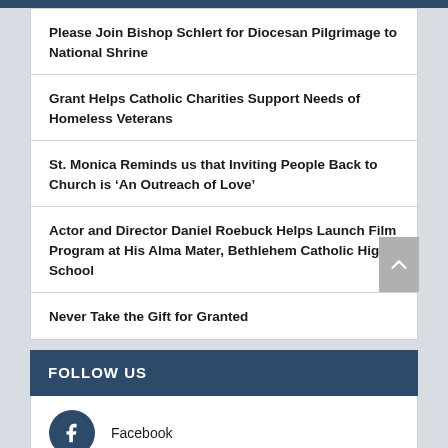Please Join Bishop Schlert for Diocesan Pilgrimage to National Shrine
Grant Helps Catholic Charities Support Needs of Homeless Veterans
St. Monica Reminds us that Inviting People Back to Church is ‘An Outreach of Love’
Actor and Director Daniel Roebuck Helps Launch Film Program at His Alma Mater, Bethlehem Catholic High School
Never Take the Gift for Granted
FOLLOW US
Facebook